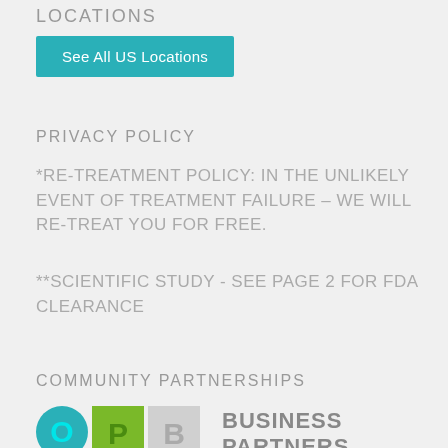LOCATIONS
See All US Locations
PRIVACY POLICY
*RE-TREATMENT POLICY: IN THE UNLIKELY EVENT OF TREATMENT FAILURE – WE WILL RE-TREAT YOU FOR FREE.
**SCIENTIFIC STUDY - SEE PAGE 2 FOR FDA CLEARANCE
COMMUNITY PARTNERSHIPS
[Figure (logo): OPB logo with teal circle, green square, and grey square letters O P B, alongside text BUSINESS PARTNERS]